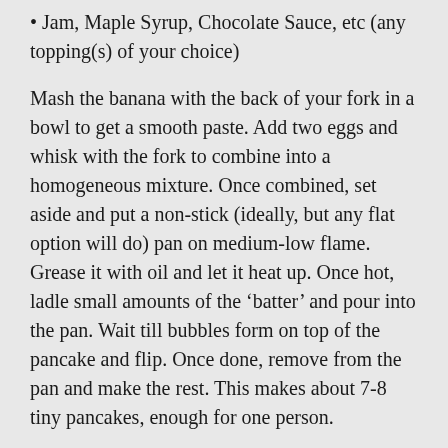Jam, Maple Syrup, Chocolate Sauce, etc (any topping(s) of your choice)
Mash the banana with the back of your fork in a bowl to get a smooth paste. Add two eggs and whisk with the fork to combine into a homogeneous mixture. Once combined, set aside and put a non-stick (ideally, but any flat option will do) pan on medium-low flame. Grease it with oil and let it heat up. Once hot, ladle small amounts of the ‘batter’ and pour into the pan. Wait till bubbles form on top of the pancake and flip. Once done, remove from the pan and make the rest. This makes about 7-8 tiny pancakes, enough for one person.
This is a great breakfast option, perfect for the